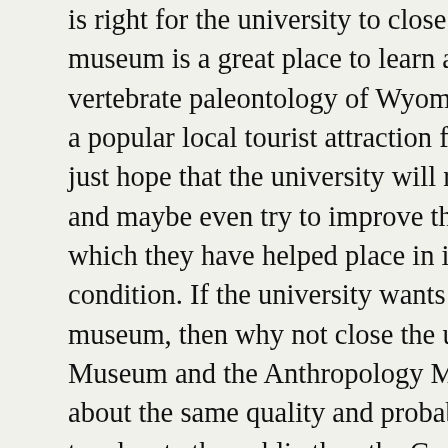is right for the university to close the museum is a great place to learn about vertebrate paleontology of Wyoming and a popular local tourist attraction for many. just hope that the university will reconsider and maybe even try to improve this small which they have helped place in its current condition. If the university wants to close the museum, then why not close the university Museum and the Anthropology Museum about the same quality and probably equal to educate the public than the Geology (although the Art Museum looks a bit more maintained). Closing all of them would reduce costs to the tax payer and the state. Anyways, why does Wyoming need a geological museum; it is not like most revenue comes from natural resources (oil, gas).